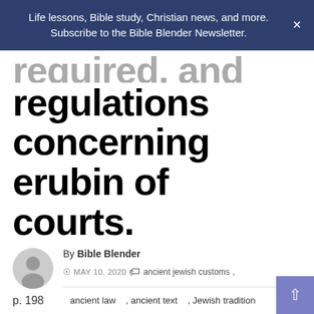Life lessons, Bible study, Christian news, and more. Subscribe to the Bible Blender Newsletter.
required, and further regulations concerning erubin of courts.
By Bible Blender
MAY 10, 2020   ancient jewish customs , ancient law , ancient text , Jewish tradition , talmud
p. 198